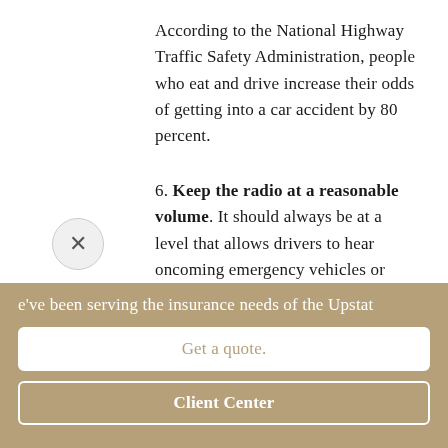According to the National Highway Traffic Safety Administration, people who eat and drive increase their odds of getting into a car accident by 80 percent.
6. Keep the radio at a reasonable volume. It should always be at a level that allows drivers to hear oncoming emergency vehicles or nearby horns.
e've been serving the insurance needs of the Upstat
Get a quote.
Client Center